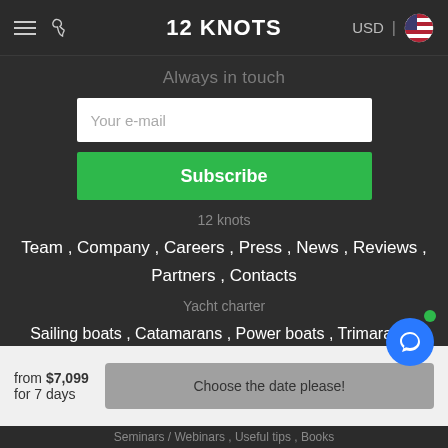12 KNOTS — USD | [US flag]
Always in touch
Your e-mail
Subscribe
12 knots
Team, Company, Careers, Press, News, Reviews, Partners, Contacts
Yacht charter
Sailing boats, Catamarans, Power boats, Trimarans, Gulets, Houseboats, Booking terms, Q&A
from $7,099
for 7 days
Choose the date please!
Seminars / Webinars, Useful tips, Books